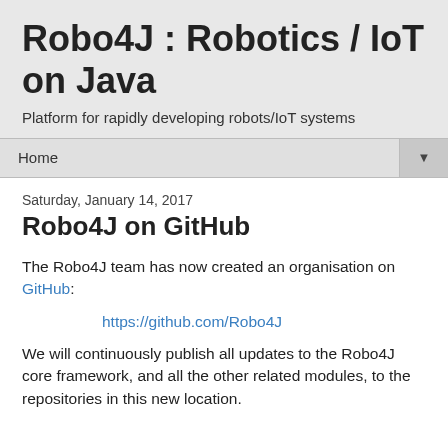Robo4J : Robotics / IoT on Java
Platform for rapidly developing robots/IoT systems
Home ▼
Saturday, January 14, 2017
Robo4J on GitHub
The Robo4J team has now created an organisation on GitHub:
https://github.com/Robo4J
We will continuously publish all updates to the Robo4J core framework, and all the other related modules, to the repositories in this new location.